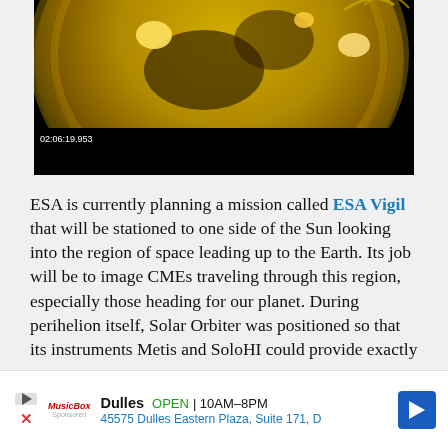[Figure (photo): Close-up image of the Sun in ultraviolet/EUV wavelength showing solar surface with bright active regions and a dark region, with timestamp overlay reading 02:06:19.953]
ESA is currently planning a mission called ESA Vigil that will be stationed to one side of the Sun looking into the region of space leading up to the Earth. Its job will be to image CMEs traveling through this region, especially those heading for our planet. During perihelion itself, Solar Orbiter was positioned so that its instruments Metis and SoloHI could provide exactly these kinds of
[Figure (other): Advertisement banner: MusicBox. Dulles OPEN 10AM–8PM. 45575 Dulles Eastern Plaza, Suite 171, D. Navigation arrow icon.]